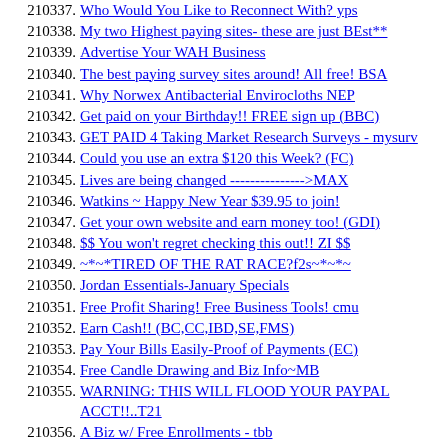210337. Who Would You Like to Reconnect With? yps
210338. My two Highest paying sites- these are just BEst**
210339. Advertise Your WAH Business
210340. The best paying survey sites around! All free! BSA
210341. Why Norwex Antibacterial Envirocloths NEP
210342. Get paid on your Birthday!! FREE sign up (BBC)
210343. GET PAID 4 Taking Market Research Surveys - mysurv
210344. Could you use an extra $120 this Week? (FC)
210345. Lives are being changed --------------->MAX
210346. Watkins ~ Happy New Year $39.95 to join!
210347. Get your own website and earn money too! (GDI)
210348. $$ You won't regret checking this out!! ZI $$
210349. ~*~*TIRED OF THE RAT RACE?f2s~*~*~
210350. Jordan Essentials-January Specials
210351. Free Profit Sharing! Free Business Tools! cmu
210352. Earn Cash!! (BC,CC,IBD,SE,FMS)
210353. Pay Your Bills Easily-Proof of Payments (EC)
210354. Free Candle Drawing and Biz Info~MB
210355. WARNING: THIS WILL FLOOD YOUR PAYPAL ACCT!!..T21
210356. A Biz w/ Free Enrollments - tbb